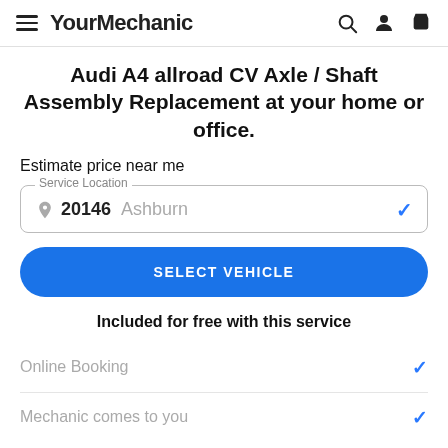YourMechanic
Audi A4 allroad CV Axle / Shaft Assembly Replacement at your home or office.
Estimate price near me
20146  Ashburn
SELECT VEHICLE
Included for free with this service
Online Booking
Mechanic comes to you